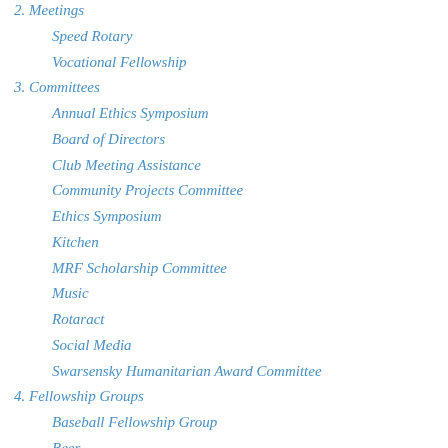2. Meetings
Speed Rotary
Vocational Fellowship
3. Committees
Annual Ethics Symposium
Board of Directors
Club Meeting Assistance
Community Projects Committee
Ethics Symposium
Kitchen
MRF Scholarship Committee
Music
Rotaract
Social Media
Swarsensky Humanitarian Award Committee
4. Fellowship Groups
Baseball Fellowship Group
Beer
Bike Fellowship
Bird Hunting Fellowship Group